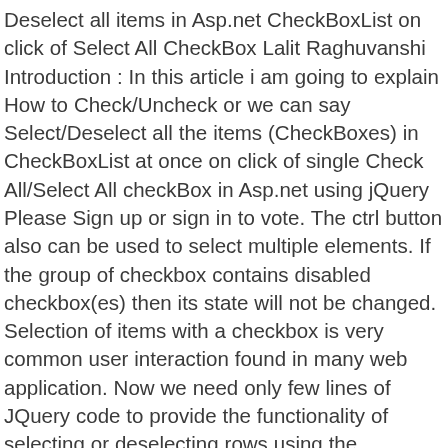Deselect all items in Asp.net CheckBoxList on click of Select All CheckBox Lalit Raghuvanshi Introduction : In this article i am going to explain How to Check/Uncheck or we can say Select/Deselect all the items (CheckBoxes) in CheckBoxList at once on click of single Check All/Select All checkBox in Asp.net using jQuery Please Sign up or sign in to vote. The ctrl button also can be used to select multiple elements. If the group of checkbox contains disabled checkbox(es) then its state will not be changed. Selection of items with a checkbox is very common user interaction found in many web application. Now we need only few lines of JQuery code to provide the functionality of selecting or deselecting rows using the checkbox added in the header of the GridView. When managing records from a database or selecting items in a form it is often handy to be able to select and deselect multiple checkboxes via a single checkbox or button. select deselect jquery. The jQuery UI checkbox type selector allows to select all the checkbox elements which are checked items of the